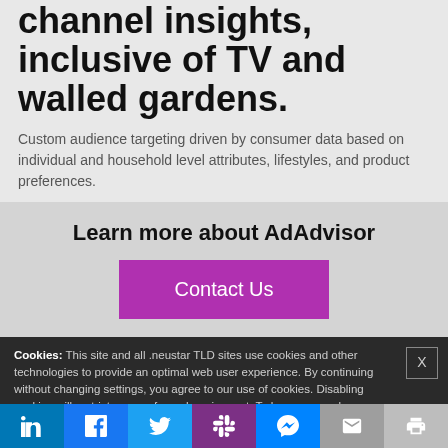channel insights, inclusive of TV and walled gardens.
Custom audience targeting driven by consumer data based on individual and household level attributes, lifestyles, and product preferences.
Learn more about AdAdvisor
Contact Us
Cookies: This site and all .neustar TLD sites use cookies and other technologies to provide an optimal web user experience. By continuing without changing settings, you agree to our use of cookies. Disabling cookies will restrict usage of our shopping cart. To learn more, please read our Neustar Cookie Policy.
Continue
Turn Cookies Off